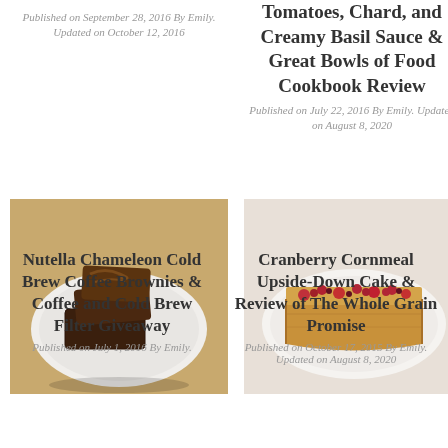Published on September 28, 2016 By Emily. Updated on October 12, 2016
Tomatoes, Chard, and Creamy Basil Sauce & Great Bowls of Food Cookbook Review
Published on July 22, 2016 By Emily. Updated on August 8, 2020
[Figure (photo): Chocolate brownies stacked on a white plate on a wooden surface]
[Figure (photo): Slice of cranberry cornmeal upside-down cake on a white plate]
Nutella Chameleon Cold Brew Coffee Brownies & Coffee and Cold Brew Filter Giveaway
Published on July 1, 2016 By Emily.
Cranberry Cornmeal Upside-Down Cake & Review of The Whole Grain Promise
Published on October 17, 2015 By Emily. Updated on August 8, 2020